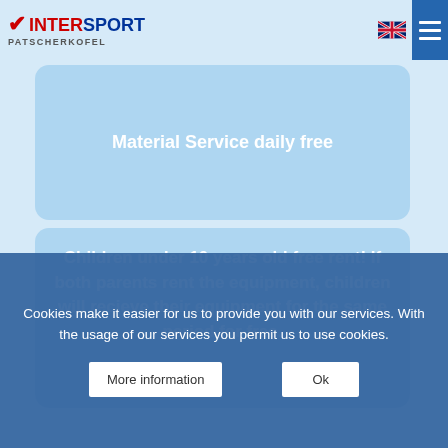INTERSPORT PATSCHERKOFEL
Material Service daily free
Children under 10 years old free rent!  If both parents rent the equipment, children will recieve their equipment for the same period for free.
Cookies make it easier for us to provide you with our services. With the usage of our services you permit us to use cookies.
More information
Ok